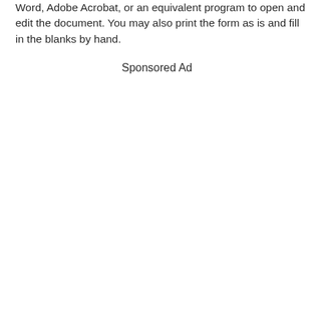Word, Adobe Acrobat, or an equivalent program to open and edit the document. You may also print the form as is and fill in the blanks by hand.
Sponsored Ad